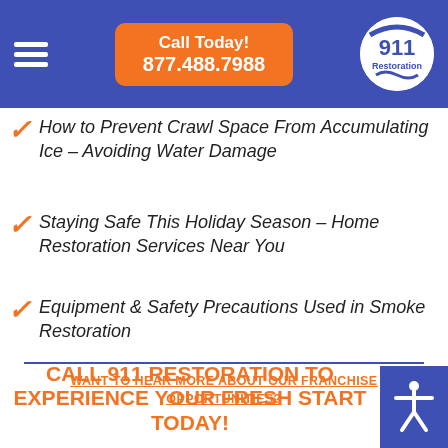Call Today! 877.488.7988
How to Prevent Crawl Space From Accumulating Ice – Avoiding Water Damage
Staying Safe This Holiday Season – Home Restoration Services Near You
Equipment & Safety Precautions Used in Smoke Restoration
WANT TO HEAR MORE ABOUT OUR FRANCHISE OPPORTUNITIES?
CALL 911 RESTORATION TO EXPERIENCE YOUR FRESH START TODAY!